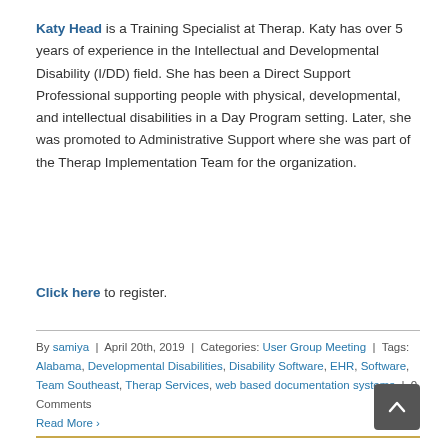Katy Head is a Training Specialist at Therap. Katy has over 5 years of experience in the Intellectual and Developmental Disability (I/DD) field. She has been a Direct Support Professional supporting people with physical, developmental, and intellectual disabilities in a Day Program setting. Later, she was promoted to Administrative Support where she was part of the Therap Implementation Team for the organization.
Click here to register.
By samiya | April 20th, 2019 | Categories: User Group Meeting | Tags: Alabama, Developmental Disabilities, Disability Software, EHR, Software, Team Southeast, Therap Services, web based documentation systems | 0 Comments
Read More ›